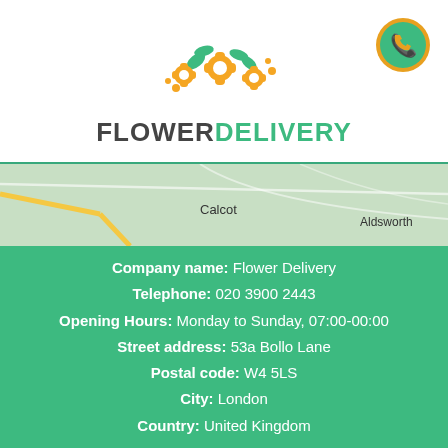[Figure (logo): Flower Delivery logo with orange flower/gear icons and green leaf icons, company name FLOWERDELIVERY in bold gray and green text]
[Figure (map): Partial Google Maps screenshot showing green terrain with road labels including Calcot and Aldsworth]
Company name: Flower Delivery
Telephone: 020 3900 2443
Opening Hours: Monday to Sunday, 07:00-00:00
Street address: 53a Bollo Lane
Postal code: W4 5LS
City: London
Country: United Kingdom